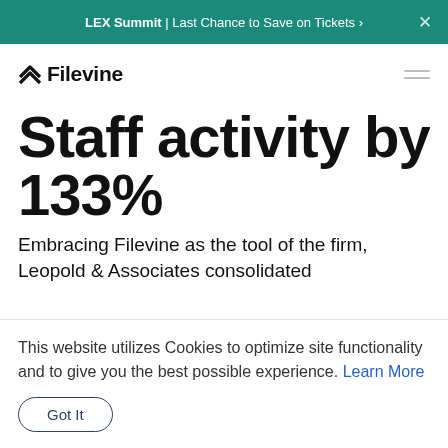LEX Summit | Last Chance to Save on Tickets ›
[Figure (logo): Filevine logo with chevron icon and wordmark]
Staff activity by 133%
Embracing Filevine as the tool of the firm, Leopold & Associates consolidated
This website utilizes Cookies to optimize site functionality and to give you the best possible experience. Learn More
Got It